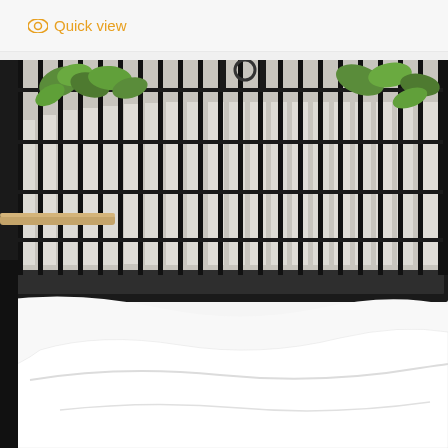Quick view
[Figure (photo): Close-up photo of a black wire bird cage with white lining paper being pulled out from the bottom tray. Green leaves visible inside the cage on the left side. The paper liner is white and wavy, partially unrolled beneath the cage on a white surface.]